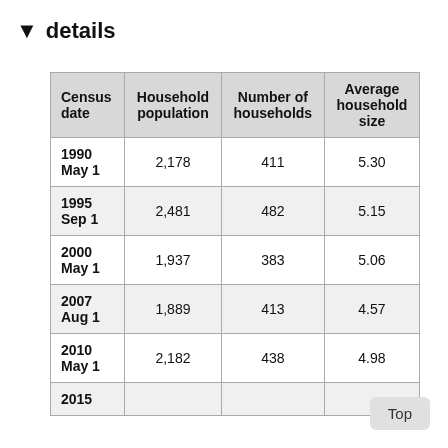▼ details
| Census date | Household population | Number of households | Average household size |
| --- | --- | --- | --- |
| 1990 May 1 | 2,178 | 411 | 5.30 |
| 1995 Sep 1 | 2,481 | 482 | 5.15 |
| 2000 May 1 | 1,937 | 383 | 5.06 |
| 2007 Aug 1 | 1,889 | 413 | 4.57 |
| 2010 May 1 | 2,182 | 438 | 4.98 |
| 2015 |  |  |  |
Top